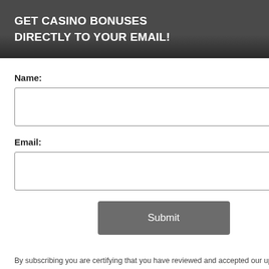*Visit the cashier under promotions and claim PROMO: NEW100_888SPINS
And get 100% Welcome Bonus on your first deposit up to $1,000!
et 888 FREE SPINS
NO DEPOSIT
[Figure (screenshot): Black cookie/privacy notice box with text about experience and cookie & privacy policy, and a yellow button]
VES $50 NO DEPOSIT
[Figure (screenshot): Popup modal overlay with dark header, close button, Name and Email fields, Submit button, and privacy footer]
GET CASINO BONUSES
DIRECTLY TO YOUR EMAIL!
Name:
Email:
Submit
By subscribing you are certifying that you have reviewed and accepted our updated Privacy and Cookie policy.